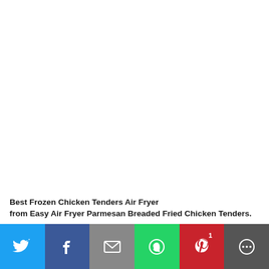[Figure (photo): Large white/blank image area at top of page]
Best Frozen Chicken Tenders Air Fryer
from Easy Air Fryer Parmesan Breaded Fried Chicken Tenders.
Source Image: www.staysnatched.com. Visit this site for details:
www.staysnatched.com
Social share bar with Twitter, Facebook, Mail, WhatsApp, Pinterest (1), More buttons